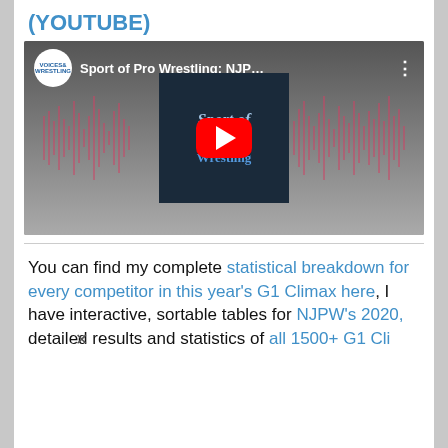(YOUTUBE)
[Figure (screenshot): YouTube video embed showing 'Sport of Pro Wrestling: NJP...' by Voices of Wrestling channel, with podcast cover art and waveform audio visualization, red play button in center]
You can find my complete statistical breakdown for every competitor in this year's G1 Climax here, I have interactive, sortable tables for NJPW's 2020, detailed results and statistics of all 1500+ G1 Cli...